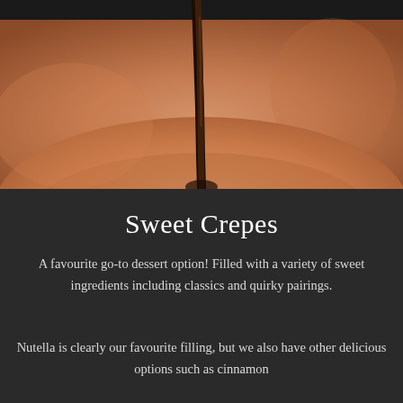[Figure (photo): Close-up photo of dark chocolate sauce dripping in a thin stream into a bowl, with warm orange-brown background of a ceramic bowl]
Sweet Crepes
A favourite go-to dessert option! Filled with a variety of sweet ingredients including classics and quirky pairings.
Nutella is clearly our favourite filling, but we also have other delicious options such as cinnamon